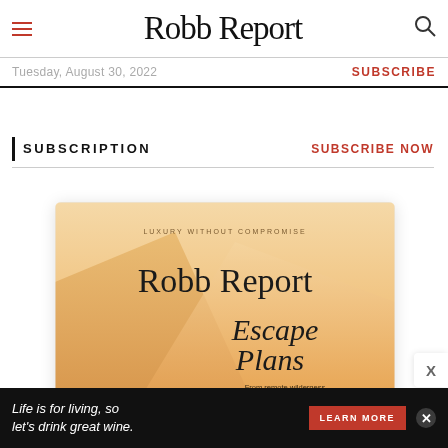Robb Report
Tuesday, August 30, 2022
SUBSCRIBE
SUBSCRIPTION
SUBSCRIBE NOW
[Figure (illustration): Robb Report magazine cover featuring 'Escape Plans - From remote wilderness' with a warm desert/mountain landscape in golden tones]
Life is for living, so let's drink great wine.
LEARN MORE